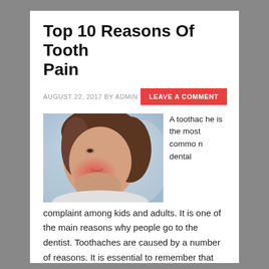Top 10 Reasons Of Tooth Pain
AUGUST 22, 2017 BY ADMIN
LEAVE A COMMENT
[Figure (photo): Woman holding her jaw/cheek in pain, with reddish highlight on her cheek indicating toothache, sitting in what appears to be a dental clinic background]
A toothache is the most common dental complaint among kids and adults. It is one of the main reasons why people go to the dentist. Toothaches are caused by a number of reasons. It is essential to remember that problems that resulted to a toothache can be treated or prevented early. Toothaches normally happen if [...]